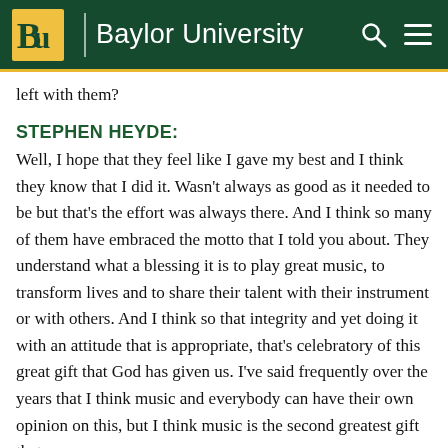Baylor University
left with them?
STEPHEN HEYDE:
Well, I hope that they feel like I gave my best and I think they know that I did it. Wasn't always as good as it needed to be but that's the effort was always there. And I think so many of them have embraced the motto that I told you about. They understand what a blessing it is to play great music, to transform lives and to share their talent with their instrument or with others. And I think so that integrity and yet doing it with an attitude that is appropriate, that's celebratory of this great gift that God has given us. I've said frequently over the years that I think music and everybody can have their own opinion on this, but I think music is the second greatest gift that